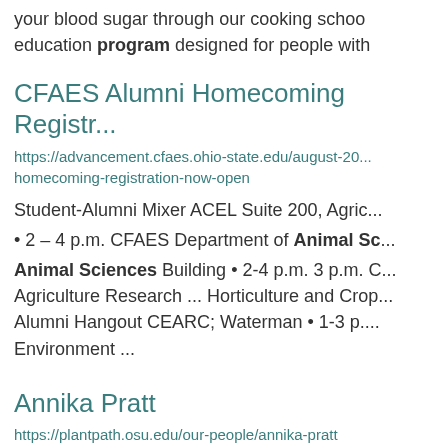your blood sugar through our cooking school education program designed for people with
CFAES Alumni Homecoming Registr...
https://advancement.cfaes.ohio-state.edu/august-20... homecoming-registration-now-open
Student-Alumni Mixer ACEL Suite 200, Agric...
• 2 – 4 p.m. CFAES Department of Animal Sc...
Animal Sciences Building • 2-4 p.m. 3 p.m. C... Agriculture Research ... Horticulture and Crop... Alumni Hangout CEARC; Waterman • 1-3 p.... Environment ...
Annika Pratt
https://plantpath.osu.edu/our-people/annika-pratt